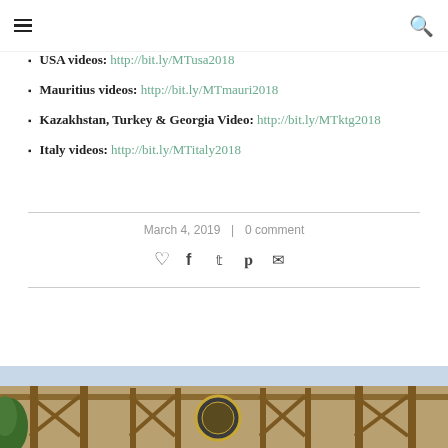Navigation header with hamburger menu and search icon
USA videos: http://bit.ly/MTusa2018
Mauritius videos: http://bit.ly/MTmauri2018
Kazakhstan, Turkey & Georgia Video: http://bit.ly/MTktg2018
Italy videos: http://bit.ly/MTitaly2018
March 4, 2019  |  0 comment
[Figure (photo): Bottom portion of a photo showing a decorative gate or entrance structure with ornamental metalwork, a central emblem, and bamboo/wood framing elements.]